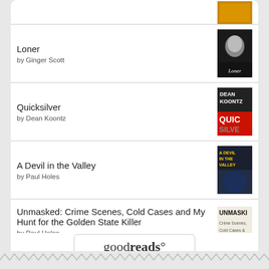Loner by Ginger Scott
Quicksilver by Dean Koontz
A Devil in the Valley by Paul Holes
Unmasked: Crime Scenes, Cold Cases and My Hunt for the Golden State Killer by Paul Holes
[Figure (logo): Goodreads logo button with rounded rectangle border]